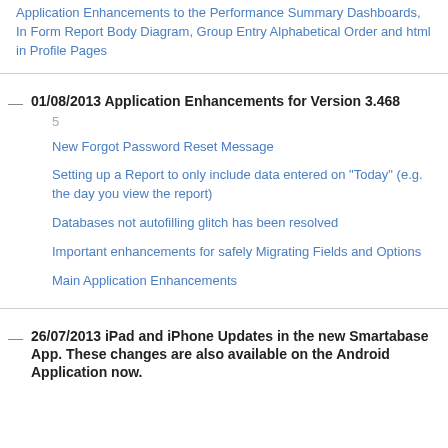Application Enhancements to the Performance Summary Dashboards, In Form Report Body Diagram, Group Entry Alphabetical Order and html in Profile Pages
01/08/2013 Application Enhancements for Version 3.468
5
New Forgot Password Reset Message
Setting up a Report to only include data entered on "Today" (e.g. the day you view the report)
Databases not autofilling glitch has been resolved
Important enhancements for safely Migrating Fields and Options
Main Application Enhancements
26/07/2013 iPad and iPhone Updates in the new Smartabase App. These changes are also available on the Android Application now.
6